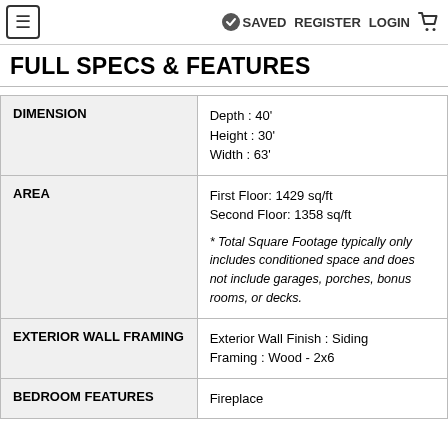≡ SAVED REGISTER LOGIN 🛒
FULL SPECS & FEATURES
| Feature | Details |
| --- | --- |
| DIMENSION | Depth : 40'
Height : 30'
Width : 63' |
| AREA | First Floor: 1429 sq/ft
Second Floor: 1358 sq/ft
* Total Square Footage typically only includes conditioned space and does not include garages, porches, bonus rooms, or decks. |
| EXTERIOR WALL FRAMING | Exterior Wall Finish : Siding
Framing : Wood - 2x6 |
| BEDROOM FEATURES | Fireplace |